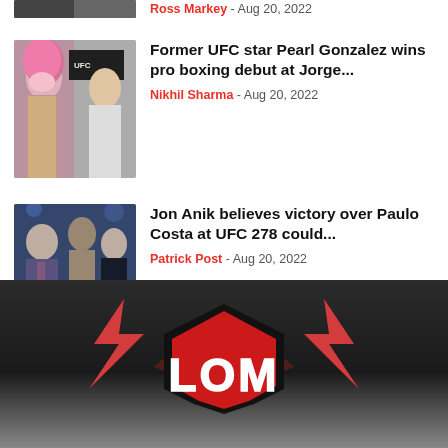Ross Markey - Aug 20, 2022
[Figure (photo): Partial thumbnail of article image cropped at top]
Former UFC star Pearl Gonzalez wins pro boxing debut at Jorge...
Nikhil Sharma - Aug 20, 2022
[Figure (photo): Thumbnail photo of Jon Anik and fighters at UFC event]
Jon Anik believes victory over Paulo Costa at UFC 278 could...
Patrick Post - Aug 20, 2022
[Figure (logo): LOM / combat sports logo in red, white and black on dark background]